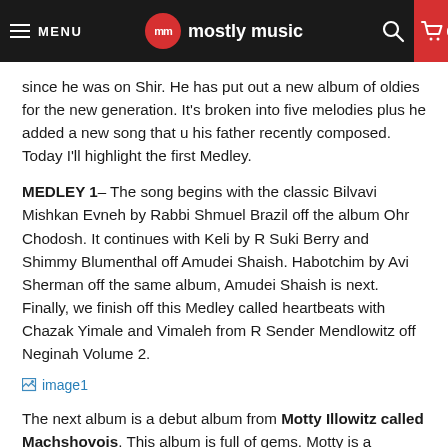MENU | mostly music | 0
since he was on Shir. He has put out a new album of oldies for the new generation. It’s broken into five melodies plus he added a new song that u his father recently composed. Today I’ll highlight the first Medley.
MEDLEY 1– The song begins with the classic Bilvavi Mishkan Evneh by Rabbi Shmuel Brazil off the album Ohr Chodosh. It continues with Keli by R Suki Berry and Shimmy Blumenthal off Amudei Shaish. Habotchim by Avi Sherman off the same album, Amudei Shaish is next. Finally, we finish off this Medley called heartbeats with Chazak Yimale and Vimaleh from R Sender Mendlowitz off Neginah Volume 2.
[Figure (other): image1 link/placeholder]
The next album is a debut album from Motty Illowitz called Machshovois. This album is full of gems. Motty is a